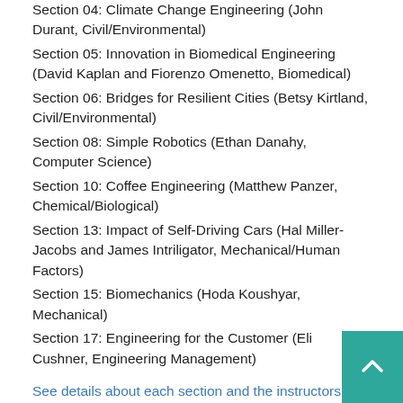Section 04: Climate Change Engineering (John Durant, Civil/Environmental)
Section 05: Innovation in Biomedical Engineering (David Kaplan and Fiorenzo Omenetto, Biomedical)
Section 06: Bridges for Resilient Cities (Betsy Kirtland, Civil/Environmental)
Section 08: Simple Robotics (Ethan Danahy, Computer Science)
Section 10: Coffee Engineering (Matthew Panzer, Chemical/Biological)
Section 13: Impact of Self-Driving Cars (Hal Miller-Jacobs and James Intriligator, Mechanical/Human Factors)
Section 15: Biomechanics (Hoda Koushyar, Mechanical)
Section 17: Engineering for the Customer (Eli Cushner, Engineering Management)
See details about each section and the instructors here.
Section 01: Intro to Renewable Energy